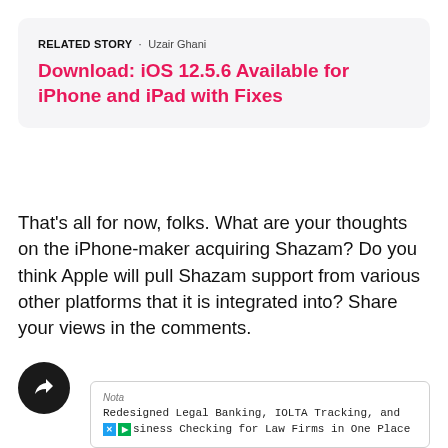RELATED STORY · Uzair Ghani
Download: iOS 12.5.6 Available for iPhone and iPad with Fixes
That's all for now, folks. What are your thoughts on the iPhone-maker acquiring Shazam? Do you think Apple will pull Shazam support from various other platforms that it is integrated into? Share your views in the comments.
[Figure (other): Dark circular share/redirect button icon]
[Figure (other): Advertisement box for Nota: Redesigned Legal Banking, IOLTA Tracking, and Business Checking for Law Firms in One Place]